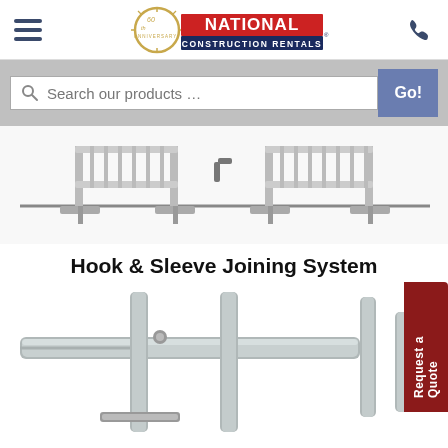[Figure (logo): National Construction Rentals 60th Anniversary logo with hamburger menu and phone icon in header]
[Figure (screenshot): Search bar with text 'Search our products ...' and a 'Go!' button on gray background]
[Figure (photo): Photograph of crowd control barrier fence panels connected with hook and sleeve joining system, showing full fence panels with vertical bars and T-base feet]
Hook & Sleeve Joining System
[Figure (photo): Close-up photograph of the hook and sleeve joining system components including horizontal rails with hooks and vertical sleeve post, showing metallic galvanized steel construction. 'Request a Quote' button visible on right side.]